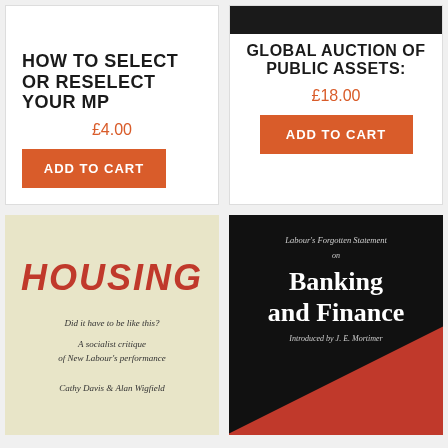HOW TO SELECT OR RESELECT YOUR MP
£4.00
GLOBAL AUCTION OF PUBLIC ASSETS:
£18.00
[Figure (illustration): Book cover for HOUSING - Did it have to be like this? A socialist critique of New Labour's performance. By Cathy Davis & Alan Wigfield. Cream/beige background with red italic title text.]
[Figure (illustration): Book cover for Banking and Finance - Labour's Forgotten Statement on Banking and Finance. Introduced by J. E. Mortimer. Black background with white serif text and red triangle graphic at bottom.]